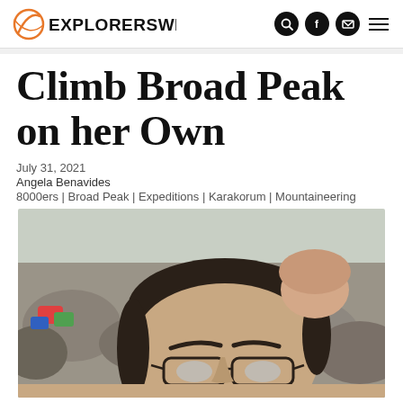EXPLORERSWEB
Climb Broad Peak on her Own
July 31, 2021
Angela Benavides
8000ers | Broad Peak | Expeditions | Karakorum | Mountaineering
[Figure (photo): Selfie photo of a person with dark hair and glasses at a rocky mountain base camp, colorful tents visible in the background]